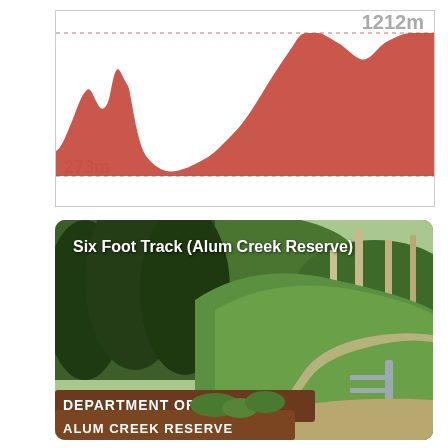[Figure (continuous-plot): Elevation profile chart showing terrain from approximately 273m to 1212m. The profile shows an orange/red filled area chart with terrain undulations. A dashed line near the top marks 1212m and another dashed line near the bottom marks 273m.]
[Figure (photo): Photograph of Six Foot Track at Alum Creek Reserve showing a green hillside with eucalyptus trees, a dirt track/path, a metal gate, and a brown wooden sign reading 'DEPARTMENT OF LANDS ALUM CREEK RESERVE' in the foreground.]